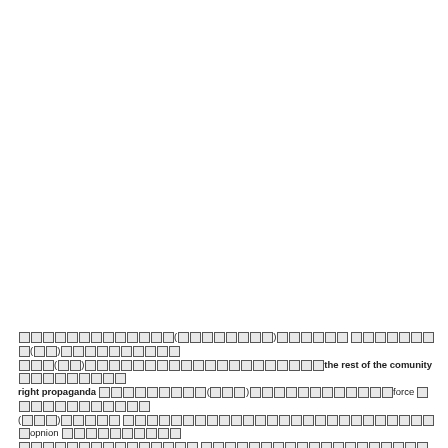[mixed script text with boxes] (□□□□□□□□□) □□□□□□ □□□□□□□□□(□□)□□□□□□□□□□□□(□□)□□□□□□□□□□□□□□□□□□□□□□□□the rest of the comunity□□□□□□□□□□right propaganda □□□□□□□□□□(□□□)□□□□□□□□□□□□force □□□□□□□□□□□□□(□□□)□□□□□ □□□□□□□□□□□□□□□□□□□□□□□□□□□□□□□□□□□□opnion □□□□□□□□□□□□□□□□□□□□□□□□□□□□ □□□□□□□□□□□□□□□□□□□□□□□□□□□□□□□□□□□□□□□□□□□□□□□□□□□□□□□□□□□□□□□□